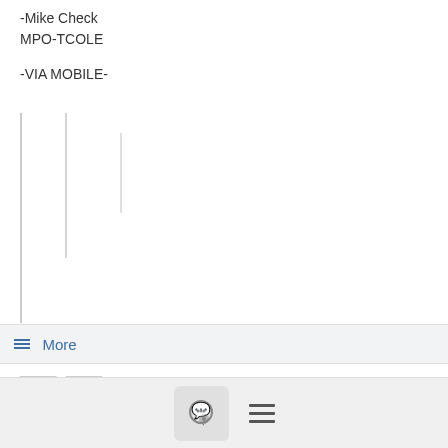-Mike Check
MPO-TCOLE

-VIA MOBILE-
[Figure (other): Three vertical lines of varying heights representing a waveform or audio check visual]
≡ More
← →
1 - 5 of 5
< 1 >
[Figure (other): Bottom navigation bar with chat bubble icon and hamburger menu icon]